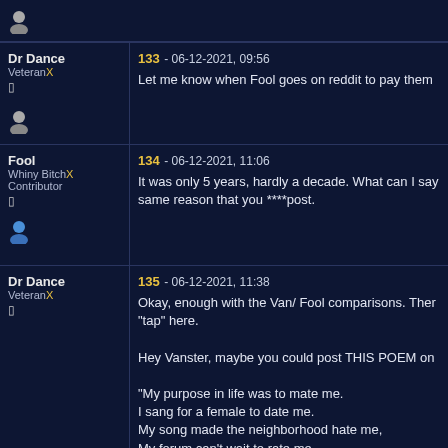Dr Dance
VeteranX
133 - 06-12-2021, 09:56
Let me know when Fool goes on reddit to pay them
Fool
Whiny BitchX
Contributor
134 - 06-12-2021, 11:06
It was only 5 years, hardly a decade. What can I say same reason that you ****post.
Dr Dance
VeteranX
135 - 06-12-2021, 11:38
Okay, enough with the Van/ Fool comparisons. There "tap" here.

Hey Vanster, maybe you could post THIS POEM on

"My purpose in life was to mate me.
I sang for a female to date me.
My song made the neighborhood hate me,
My forum can't wait to rate me.